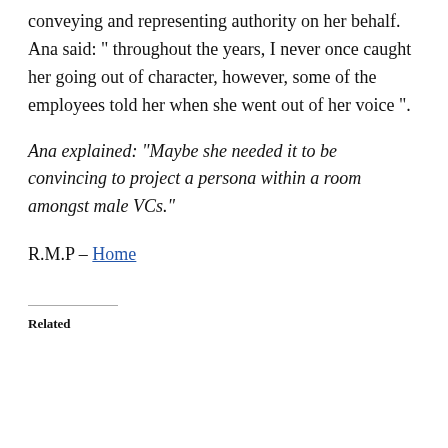conveying and representing authority on her behalf. Ana said: “ throughout the years, I never once caught her going out of character, however, some of the employees told her when she went out of her voice ”.
Ana explained: “Maybe she needed it to be convincing to project a persona within a room amongst male VCs.”
R.M.P – Home
Related